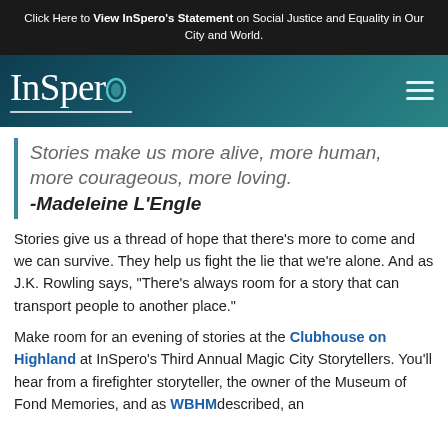Click Here to View InSpero's Statement on Social Justice and Equality in Our City and World.
[Figure (logo): InSpero logo in white handwritten script font on dark teal gradient background with hamburger menu icon]
Stories make us more alive, more human, more courageous, more loving. -Madeleine L'Engle
Stories give us a thread of hope that there's more to come and we can survive. They help us fight the lie that we're alone. And as J.K. Rowling says, "There's always room for a story that can transport people to another place."
Make room for an evening of stories at the Clubhouse on Highland at InSpero's Third Annual Magic City Storytellers. You'll hear from a firefighter storyteller, the owner of the Museum of Fond Memories, and as WBHM described, an